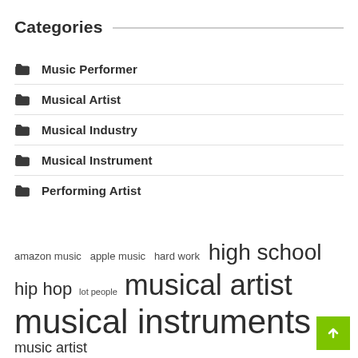Categories
Music Performer
Musical Artist
Musical Industry
Musical Instrument
Performing Artist
amazon music  apple music  hard work  high school  hip hop  lot people  musical artist  musical instruments  music artist  music industry  music platforms